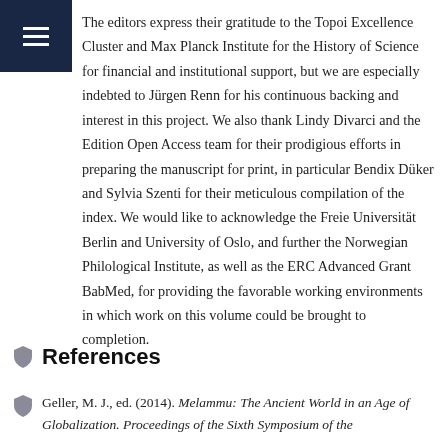The editors express their gratitude to the Topoi Excellence Cluster and Max Planck Institute for the History of Science for financial and institutional support, but we are especially indebted to Jürgen Renn for his continuous backing and interest in this project. We also thank Lindy Divarci and the Edition Open Access team for their prodigious efforts in preparing the manuscript for print, in particular Bendix Düker and Sylvia Szenti for their meticulous compilation of the index. We would like to acknowledge the Freie Universität Berlin and University of Oslo, and further the Norwegian Philological Institute, as well as the ERC Advanced Grant BabMed, for providing the favorable working environments in which work on this volume could be brought to completion.
References
Geller, M. J., ed. (2014). Melammu: The Ancient World in an Age of Globalization. Proceedings of the Sixth Symposium of the